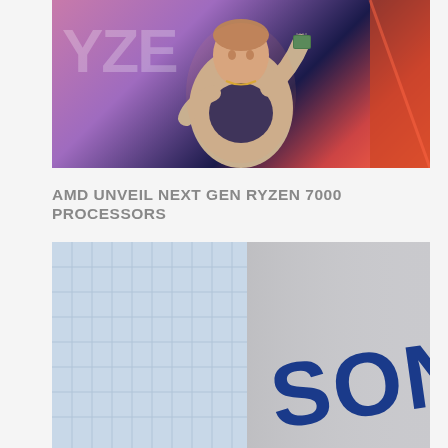[Figure (photo): A person (AMD CEO Lisa Su) holding up a small processor chip, standing in front of a background with the RYZEN text logo in pink/purple lighting]
AMD UNVEIL NEXT GEN RYZEN 7000 PROCESSORS
[Figure (photo): Exterior shot of a building with a large SONY logo sign in blue letters on a gray facade, with a glass office building in the background]